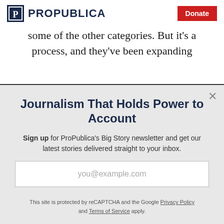ProPublica | Donate
some of the other categories. But it's a process, and they've been expanding
Journalism That Holds Power to Account
Sign up for ProPublica's Big Story newsletter and get our latest stories delivered straight to your inbox.
you@example.com
Get the Newsletter
No thanks, I'm all set
This site is protected by reCAPTCHA and the Google Privacy Policy and Terms of Service apply.